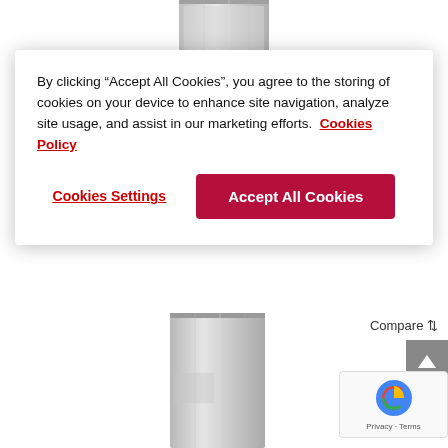[Figure (photo): Stainless steel appliance product image at top of page]
By clicking “Accept All Cookies”, you agree to the storing of cookies on your device to enhance site navigation, analyze site usage, and assist in our marketing efforts.  Cookies Policy
Cookies Settings
Accept All Cookies
Compare
[Figure (photo): Stainless steel appliance product image at bottom of page]
[Figure (other): reCAPTCHA badge with Privacy and Terms links]